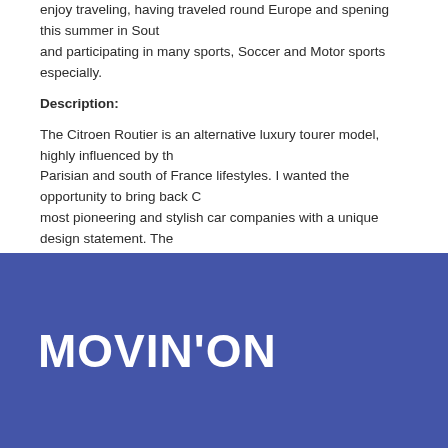enjoy traveling, having traveled round Europe and spening this summer in South and participating in many sports, Soccer and Motor sports especially.
Description:
The Citroen Routier is an alternative luxury tourer model, highly influenced by the Parisian and south of France lifestyles. I wanted the opportunity to bring back Citroen most pioneering and stylish car companies with a unique design statement. The design is a canopy made from a lightweight composite glass, which can change surrounding.
[Figure (logo): MOVIN'ON logo in white text on a blue/indigo background]